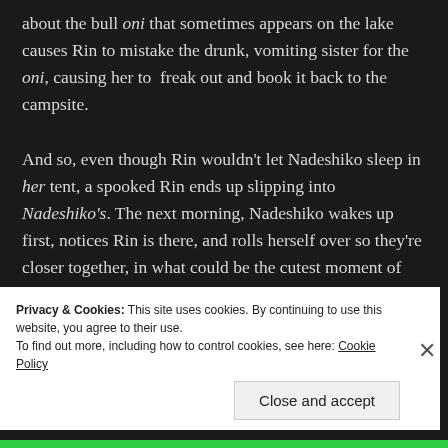about the bull oni that sometimes appears on the lake causes Rin to mistake the drunk, vomiting sister for the oni, causing her to freak out and book it back to the campsite.

And so, even though Rin wouldn't let Nadeshiko sleep in her tent, a spooked Rin ends up slipping into Nadeshiko's. The next morning, Nadeshiko wakes up first, notices Rin is there, and rolls herself over so they're closer together, in what could be the cutest moment of the show to date. Once they're both up and ready to head camp, Rin starts to check the...
Privacy & Cookies: This site uses cookies. By continuing to use this website, you agree to their use.
To find out more, including how to control cookies, see here: Cookie Policy
Close and accept